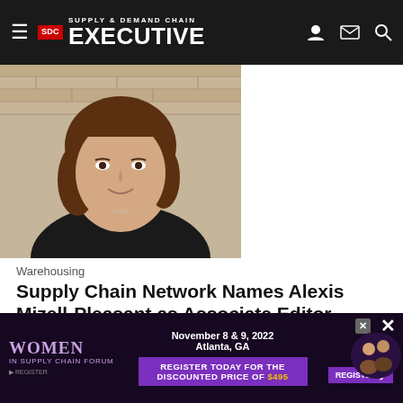Supply & Demand Chain EXECUTIVE
[Figure (photo): Portrait photo of a woman with brown hair, smiling, wearing a dark top, photographed against a brick wall background.]
Warehousing
Supply Chain Network Names Alexis Mizell-Pleasant as Associate Editor
Food Logistics and Supply & Demand Chain Executive named Alexis Mizell-Pleasant as Associate Editor, responsible for writing, editing, managing the awards programs, overseeing social medi...
Alexis Mizell-Pleasant
Marina Mayer
August 17, 2022
[Figure (infographic): Advertisement banner for Women in Supply Chain Forum, November 8 & 9, 2022, Atlanta, GA. Register today for the discounted price of $495.]